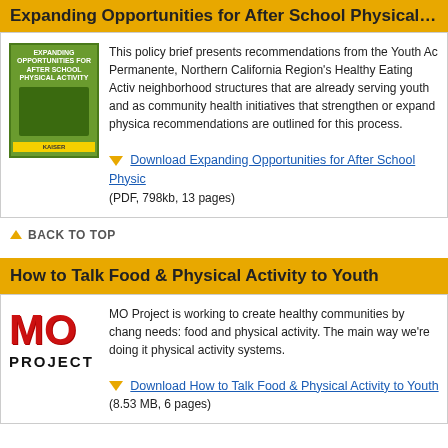Expanding Opportunities for After School Physical Activity
This policy brief presents recommendations from the Youth Activity Permanente, Northern California Region's Healthy Eating Activity neighborhood structures that are already serving youth and as community health initiatives that strengthen or expand physical recommendations are outlined for this process.
Download Expanding Opportunities for After School Physical
(PDF, 798kb, 13 pages)
▲ BACK TO TOP
How to Talk Food & Physical Activity to Youth
MO Project is working to create healthy communities by changing needs: food and physical activity. The main way we're doing it physical activity systems.
Download How to Talk Food & Physical Activity to Youth
(8.53 MB, 6 pages)